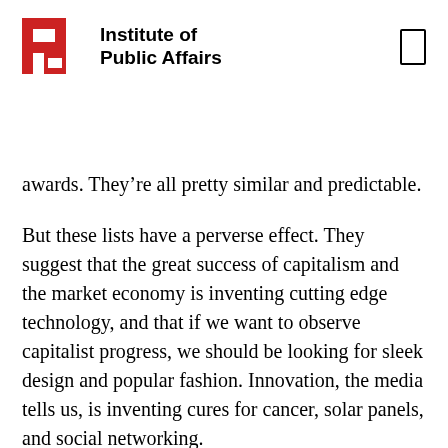Institute of Public Affairs
awards. They’re all pretty similar and predictable.
But these lists have a perverse effect. They suggest that the great success of capitalism and the market economy is inventing cutting edge technology, and that if we want to observe capitalist progress, we should be looking for sleek design and popular fashion. Innovation, the media tells us, is inventing cures for cancer, solar panels, and social networking.
This widely held belief couldn’t be more wrong. The true genius of the market...